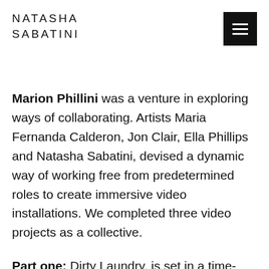NATASHA SABATINI
Marion Phillini was a venture in exploring ways of collaborating. Artists Maria Fernanda Calderon, Jon Clair, Ella Phillips and Natasha Sabatini, devised a dynamic way of working free from predetermined roles to create immersive video installations. We completed three video projects as a collective.
Part one: Dirty Laundry, is set in a time-forgotten Laundromat and revels in the delights of the voyeuristic. Using live webcam feeds and the screen as a boundary and window, we